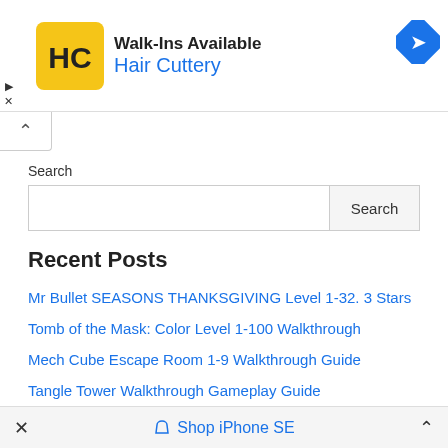[Figure (screenshot): Ad banner for Hair Cuttery with logo, text 'Walk-ins Available', blue 'Hair Cuttery' text, and a blue diamond navigation arrow icon on the right.]
Search
Search (input box and button)
Recent Posts
Mr Bullet SEASONS THANKSGIVING Level 1-32. 3 Stars
Tomb of the Mask: Color Level 1-100 Walkthrough
Mech Cube Escape Room 1-9 Walkthrough Guide
Tangle Tower Walkthrough Gameplay Guide
Sky: Children of the Light – Secret Beta Area Part 1
× Shop iPhone SE ^